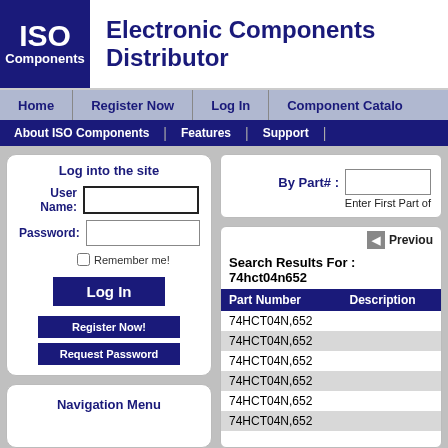[Figure (logo): ISO Components logo - blue box with ISO text and Components text]
Electronic Components Distributor
Home | Register Now | Log In | Component Catalog
About ISO Components | Features | Support
Log into the site
User Name:
Password:
Remember me!
Log In
Register Now!
Request Password
Navigation Menu
By Part# :
Enter First Part of
Previous
Search Results For : 74hct04n652
| Part Number | Description |
| --- | --- |
| 74HCT04N,652 |  |
| 74HCT04N,652 |  |
| 74HCT04N,652 |  |
| 74HCT04N,652 |  |
| 74HCT04N,652 |  |
| 74HCT04N,652 |  |